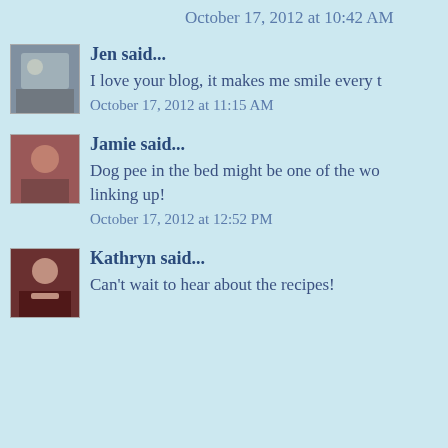October 17, 2012 at 10:42 AM
Jen said...
I love your blog, it makes me smile every t
October 17, 2012 at 11:15 AM
Jamie said...
Dog pee in the bed might be one of the wo linking up!
October 17, 2012 at 12:52 PM
Kathryn said...
Can't wait to hear about the recipes!